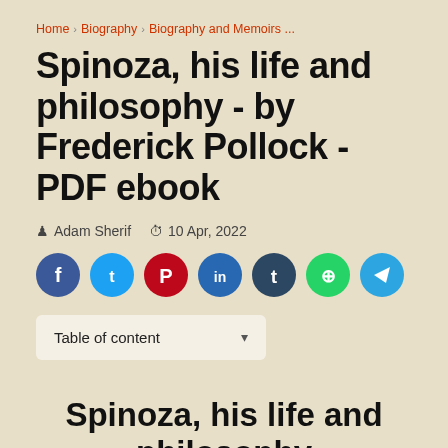Home › Biography › Biography and Memoirs ...
Spinoza, his life and philosophy - by Frederick Pollock - PDF ebook
Adam Sherif   10 Apr, 2022
[Figure (infographic): Row of social media share buttons: Facebook (blue), Twitter (light blue), Pinterest (red), LinkedIn (dark blue), Tumblr (dark navy), WhatsApp (green), Telegram (light blue)]
Table of content ▾
Spinoza, his life and philosophy